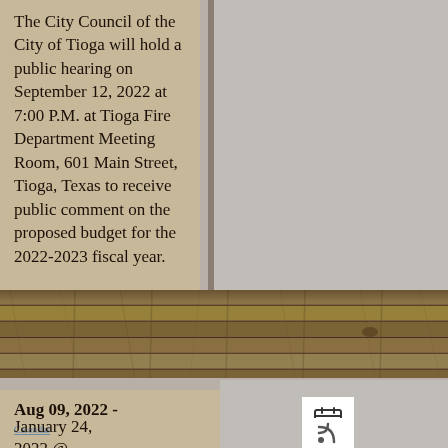The City Council of the City of Tioga will hold a public hearing on September 12, 2022 at 7:00 P.M. at Tioga Fire Department Meeting Room, 601 Main Street, Tioga, Texas to receive public comment on the proposed budget for the 2022-2023 fiscal year.
[Figure (photo): A horizontal band showing weathered wooden plank boards, visible grain and texture, spanning the full width of the page.]
Aug 09, 2022 -
January 24, 2022 @